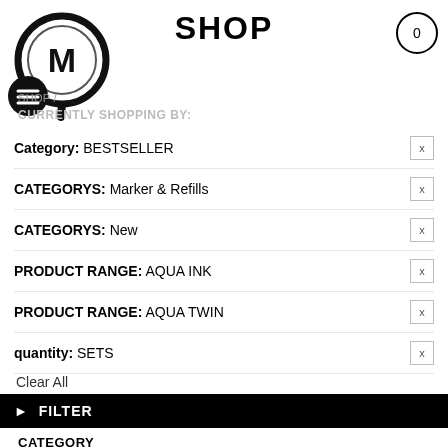SHOP
0
[Figure (logo): Molotow brand logo — circular magnifying glass with letter M inside, plus hamburger menu icon overlay]
SHOP /
CURRENTLY SHOPPING BY:
Category: BESTSELLER  X
CATEGORYS: Marker & Refills  X
CATEGORYS: New  X
PRODUCT RANGE: AQUA INK  X
PRODUCT RANGE: AQUA TWIN  X
quantity: SETS  X
Clear All
▶ FILTER
CATEGORY
CATEGORYS
PRODUCT RANGE